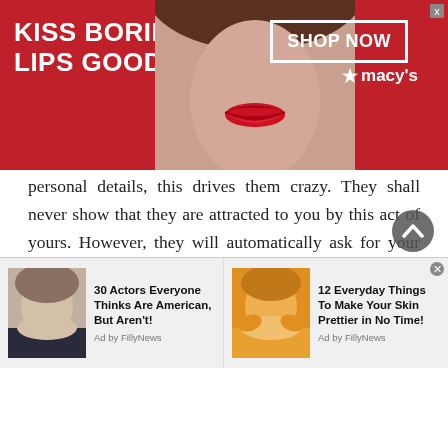[Figure (other): Top banner advertisement for Macy's lipstick featuring a woman's face with red lips and text 'KISS BORING LIPS GOODBYE' with 'SHOP NOW' button and Macy's star logo]
personal details, this drives them crazy. They shall never show that they are attracted to you by this act of yours. However, they will automatically ask for your details. Then it should be easy to swap contacts with them.
6. Ask for an opinion:
If you are going to make a big decision in your life, then you most probably consult with your friends or
[Figure (other): Bottom advertisement bar with two ad tiles: '30 Actors Everyone Thinks Are American, But Aren't!' with photo of bald man, and '12 Everyday Things To Make Your Skin Prettier in No Time!' with photo of woman applying face mask. Both ads by FillyNews.]